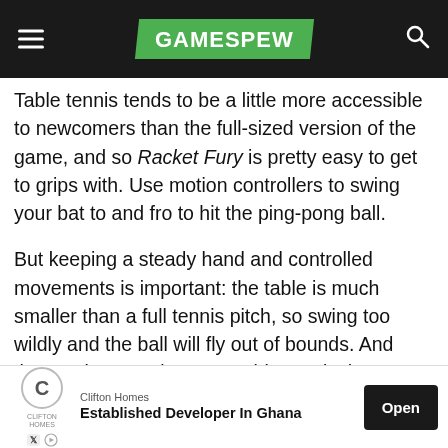GAMESPEW
Table tennis tends to be a little more accessible to newcomers than the full-sized version of the game, and so Racket Fury is pretty easy to get to grips with. Use motion controllers to swing your bat to and fro to hit the ping-pong ball.
But keeping a steady hand and controlled movements is important: the table is much smaller than a full tennis pitch, so swing too wildly and the ball will fly out of bounds. And those robots are better at table tennis than you think: Racket Fury proves to be a great challenge. It's well worth a go if you'd rather play table tennis than the real thing.
[Figure (infographic): Advertisement banner: Clifton Homes — Established Developer In Ghana. Open button on right.]